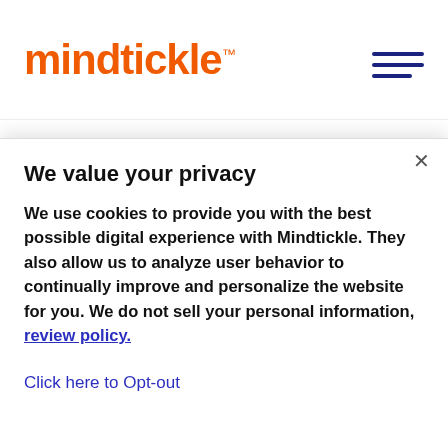[Figure (logo): Mindtickle logo in orange text with TM mark, and a hamburger menu icon in dark blue on the right]
What conversation intelligence can measure
So, what specific metrics can conversation intelligence assess? When set up properly, a conversation intelligence platform gathers the
We value your privacy
We use cookies to provide you with the best possible digital experience with Mindtickle. They also allow us to analyze user behavior to continually improve and personalize the website for you. We do not sell your personal information, review policy.
Click here to Opt-out